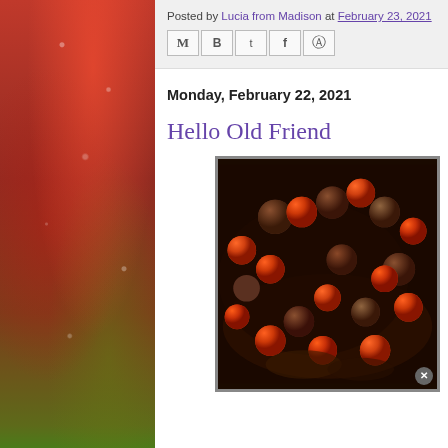Posted by Lucia from Madison at February 23, 2021   No com
[Figure (screenshot): Social sharing icons: email (M), Blogger (B), Twitter (t), Facebook (f), Pinterest (circle with P)]
Monday, February 22, 2021
Hello Old Friend
[Figure (photo): Close-up photo of roasted cherry tomatoes and meatballs in a baking dish with oil/juices, shot from above at an angle]